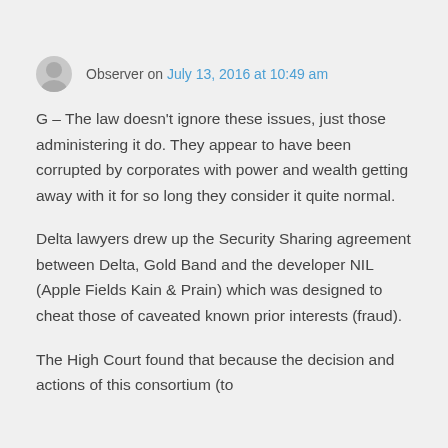Observer on July 13, 2016 at 10:49 am
G – The law doesn't ignore these issues, just those administering it do. They appear to have been corrupted by corporates with power and wealth getting away with it for so long they consider it quite normal.
Delta lawyers drew up the Security Sharing agreement between Delta, Gold Band and the developer NIL (Apple Fields Kain & Prain) which was designed to cheat those of caveated known prior interests (fraud).
The High Court found that because the decision and actions of this consortium (to